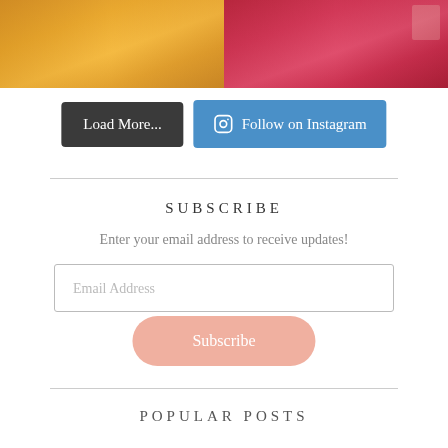[Figure (photo): Two hands holding drinks — an orange juice/smoothie on the left and a red/pink smoothie on the right, cropped photo strip at the top of the page]
Load More...
Follow on Instagram
SUBSCRIBE
Enter your email address to receive updates!
Email Address
Subscribe
POPULAR POSTS